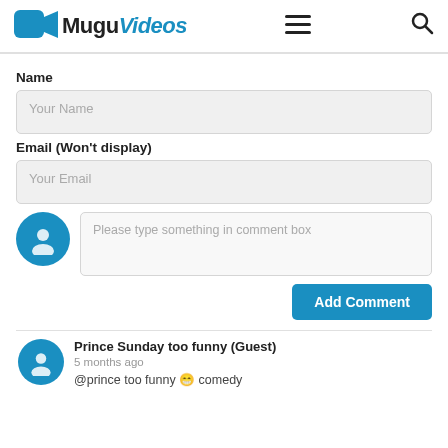MuguVideos
Name
Your Name
Email (Won't display)
Your Email
Please type something in comment box
Add Comment
Prince Sunday too funny (Guest)
5 months ago
@prince too funny 😁 comedy